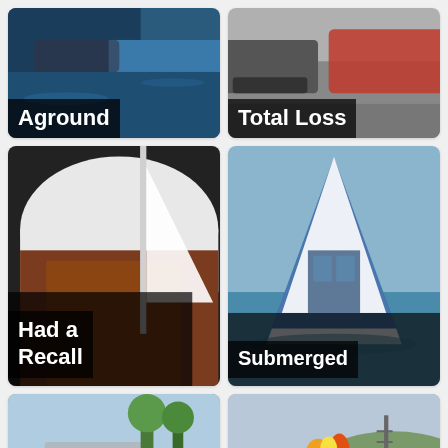[Figure (photo): Boat aground on water with dark water background. Label overlay: 'Aground']
[Figure (photo): Vehicle total loss scene, car and truck visible. Label overlay: 'Total Loss']
[Figure (photo): Sailboat hull and mast, boat with recall issue. Label overlay: 'Had a Recall']
[Figure (photo): Capsizing blue and white striped boat submerged in lake. Label overlay: 'Submerged']
[Figure (photo): Boat on highway after accident, green park in background.]
[Figure (photo): Boat on fire with firefighter spraying water, outdoor scene.]